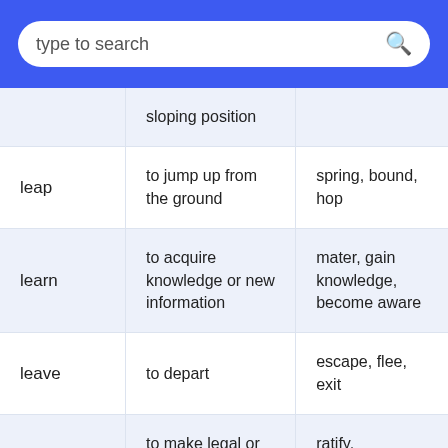type to search
| Word | Definition | Synonyms |
| --- | --- | --- |
|  | sloping position |  |
| leap | to jump up from the ground | spring, bound, hop |
| learn | to acquire knowledge or new information | mater, gain knowledge, become aware |
| leave | to depart | escape, flee, exit |
| legalize | to make legal or | ratify, |